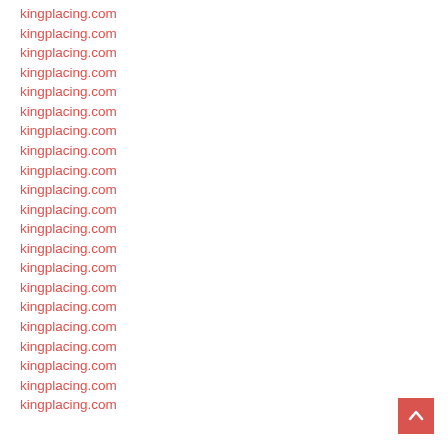kingplacing.com
kingplacing.com
kingplacing.com
kingplacing.com
kingplacing.com
kingplacing.com
kingplacing.com
kingplacing.com
kingplacing.com
kingplacing.com
kingplacing.com
kingplacing.com
kingplacing.com
kingplacing.com
kingplacing.com
kingplacing.com
kingplacing.com
kingplacing.com
kingplacing.com
kingplacing.com
kingplacing.com